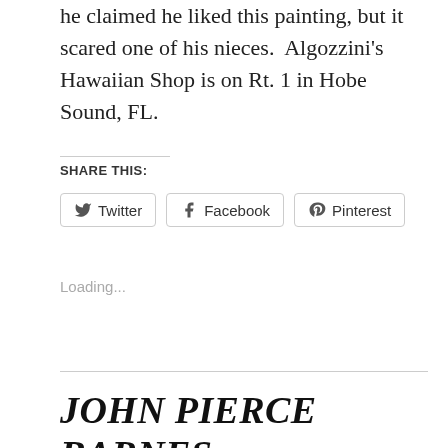he claimed he liked this painting, but it scared one of his nieces.  Algozzini's Hawaiian Shop is on Rt. 1 in Hobe Sound, FL.
SHARE THIS:
[Figure (other): Social share buttons for Twitter, Facebook, and Pinterest]
Loading...
JOHN PIERCE BARNES